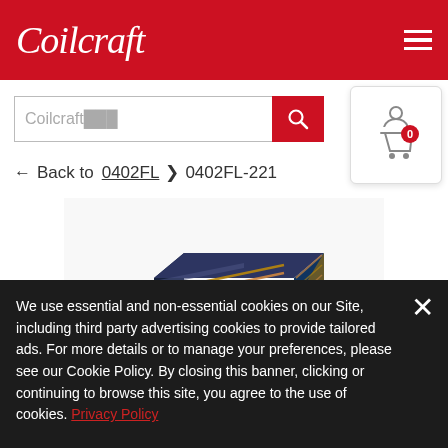Coilcraft
Coilcraft [search box]
← Back to 0402FL › 0402FL-221
[Figure (photo): Close-up photo of a small black surface-mount inductor component (Coilcraft 0402FL-221), showing metallic windings and copper terminals on a dark body]
We use essential and non-essential cookies on our Site, including third party advertising cookies to provide tailored ads. For more details or to manage your preferences, please see our Cookie Policy. By closing this banner, clicking or continuing to browse this site, you agree to the use of cookies. Privacy Policy